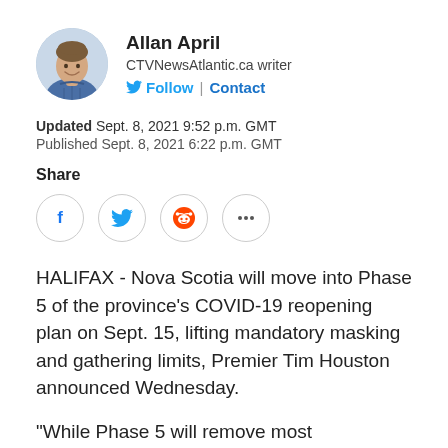[Figure (photo): Circular headshot photo of Allan April, a man with short brown hair wearing a blue plaid shirt, smiling]
Allan April
CTVNewsAtlantic.ca writer
Follow | Contact
Updated Sept. 8, 2021 9:52 p.m. GMT
Published Sept. 8, 2021 6:22 p.m. GMT
Share
[Figure (infographic): Social share buttons: Facebook, Twitter, Reddit, and more (ellipsis) — circular icon buttons with light border]
HALIFAX - Nova Scotia will move into Phase 5 of the province's COVID-19 reopening plan on Sept. 15, lifting mandatory masking and gathering limits, Premier Tim Houston announced Wednesday.
“While Phase 5 will remove most restrictions,